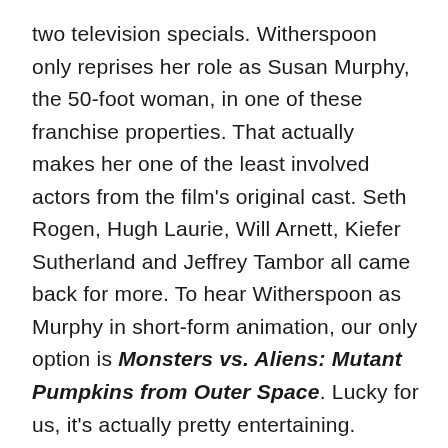two television specials. Witherspoon only reprises her role as Susan Murphy, the 50-foot woman, in one of these franchise properties. That actually makes her one of the least involved actors from the film's original cast. Seth Rogen, Hugh Laurie, Will Arnett, Kiefer Sutherland and Jeffrey Tambor all came back for more. To hear Witherspoon as Murphy in short-form animation, our only option is Monsters vs. Aliens: Mutant Pumpkins from Outer Space. Lucky for us, it's actually pretty entertaining.